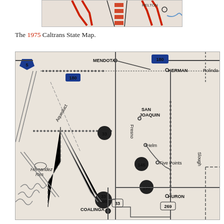[Figure (map): Top portion of 1975 Caltrans State Map showing roads with red and black lines on a beige background]
The 1975 Caltrans State Map.
[Figure (map): 1975 Caltrans State Map section showing central California with cities Mendota, Kerman, San Joaquin, Helm, Five Points, Huron, Coalinga, Hernandez Res, and routes 5, 33, 145, 180, 198, 269]